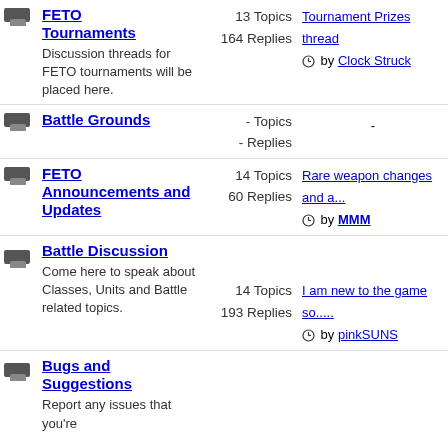FETO Tournaments - Discussion threads for FETO tournaments will be placed here. 13 Topics 164 Replies. Tournament Prizes thread by Clock Struck
Battle Grounds - Topics - Replies -
FETO Announcements and Updates - 14 Topics 60 Replies. Rare weapon changes and a... by MMM
Battle Discussion - Come here to speak about Classes, Units and Battle related topics. 14 Topics 193 Replies. I am new to the game so..... by pinkSUNS
Bugs and Suggestions - Report any issues that you're